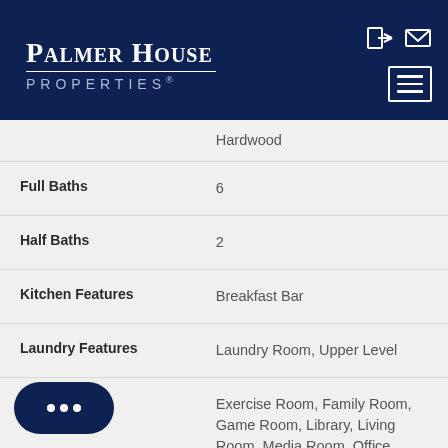PalmerHouse Properties
| Feature | Value |
| --- | --- |
|  | Hardwood |
| Full Baths | 6 |
| Half Baths | 2 |
| Kitchen Features | Breakfast Bar |
| Laundry Features | Laundry Room, Upper Level |
| Room Type | Exercise Room, Family Room, Game Room, Library, Living Room, Media Room, Office, ... |